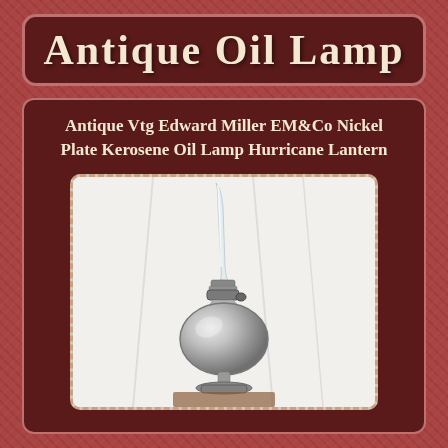Antique Oil Lamp
Antique Vtg Edward Miller EM&Co Nickel Plate Kerosene Oil Lamp Hurricane Lantern
[Figure (photo): Photograph of an antique nickel-plated kerosene oil lamp with a tall clear glass chimney/flue, round bulbous reservoir, and decorative metal burner assembly, on a white fabric background.]